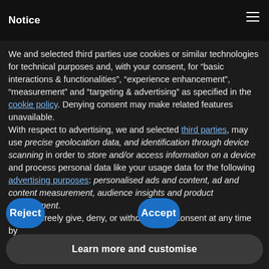Notice
We and selected third parties use cookies or similar technologies for technical purposes and, with your consent, for “basic interactions & functionalities”, “experience enhancement”, “measurement” and “targeting & advertising” as specified in the cookie policy. Denying consent may make related features unavailable.
With respect to advertising, we and selected third parties, may use precise geolocation data, and identification through device scanning in order to store and/or access information on a device and process personal data like your usage data for the following advertising purposes: personalised ads and content, ad and content measurement, audience insights and product development.
You can freely give, deny, or withdraw your consent at any time by
Reject
Accept
Learn more and customise